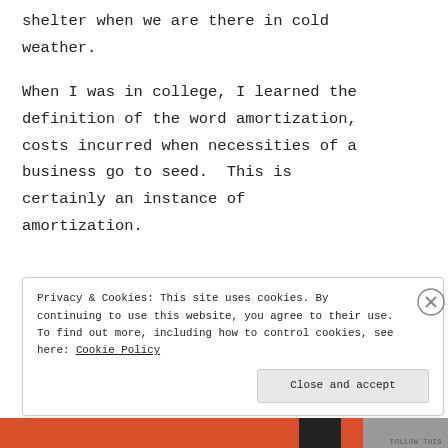shelter when we are there in cold weather.
When I was in college, I learned the definition of the word amortization, costs incurred when necessities of a business go to seed.  This is certainly an instance of amortization.
Privacy & Cookies: This site uses cookies. By continuing to use this website, you agree to their use. To find out more, including how to control cookies, see here: Cookie Policy
Close and accept